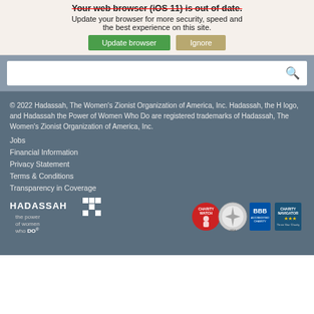Your web browser (iOS 11) is out of date. Update your browser for more security, speed and the best experience on this site.
[Figure (screenshot): Browser update warning banner with 'Update browser' green button and 'Ignore' tan button]
[Figure (screenshot): Search bar with magnifying glass icon on grey background]
© 2022 Hadassah, The Women's Zionist Organization of America, Inc. Hadassah, the H logo, and Hadassah the Power of Women Who Do are registered trademarks of Hadassah, The Women's Zionist Organization of America, Inc.
Jobs
Financial Information
Privacy Statement
Terms & Conditions
Transparency in Coverage
[Figure (logo): Hadassah logo - HADASSAH the power of women who DO with H grid logo]
[Figure (logo): Charity watch, Better Business Bureau, and Charity Navigator badges]